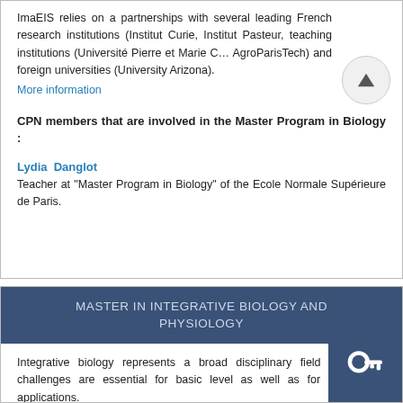ImaEIS relies on a partnerships with several leading French research institutions (Institut Curie, Institut Pasteur, teaching institutions (Université Pierre et Marie C… AgroParisTech) and foreign universities (University Arizona).
More information
CPN members that are involved in the Master Program in Biology :
Lydia Danglot
Teacher at "Master Program in Biology" of the Ecole Normale Supérieure de Paris.
MASTER IN INTEGRATIVE BIOLOGY AND PHYSIOLOGY
Integrative biology represents a broad disciplinary field where key challenges are essential for basic level as well as for its multiple applications.
The course trains students in the new conce… integrated biology, biology of aging, biology and bioresources, physiopathology, nutrition